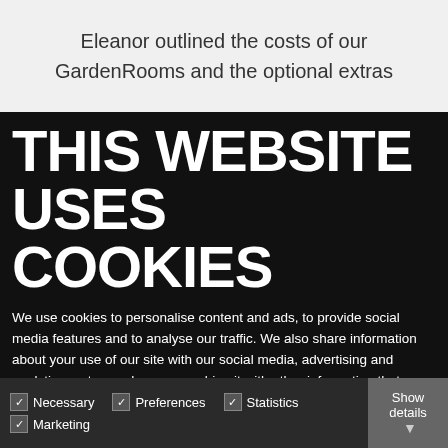Eleanor outlined the costs of our GardenRooms and the optional extras
THIS WEBSITE USES COOKIES
We use cookies to personalise content and ads, to provide social media features and to analyse our traffic. We also share information about your use of our site with our social media, advertising and analytics partners who may combine it with other information that you've provided to them or that they've collected from your use of their services.
Allow all cookies
Allow selection
Use necessary cookies only
Necessary   Preferences   Statistics   Marketing
Show details